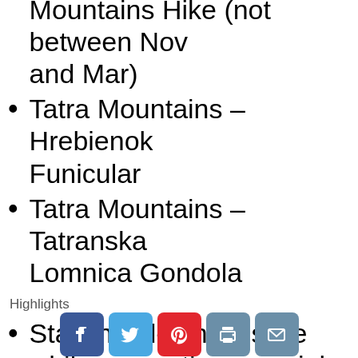Mountains Hike (not between Nov and Mar)
Tatra Mountains – Hrebienok Funicular
Tatra Mountains – Tatranska Lomnica Gondola
Highlights
Stay in old-school style while supporting a social cause during your time in Vienna. The city's quirky Magdas Hotel is committed to helping local refugees earn a living...